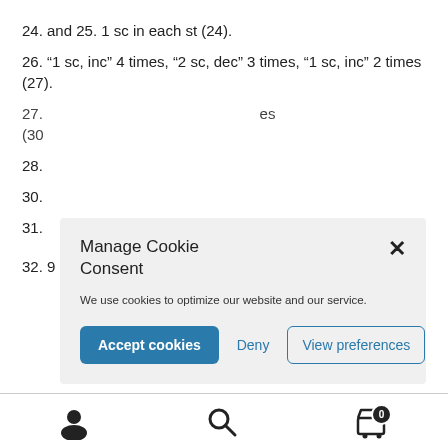24. and 25. 1 sc in each st (24).
26. “1 sc, inc” 4 times, “2 sc, dec” 3 times, “1 sc, inc” 2 times (27).
27. [partially obscured] es (30 [partially obscured])
28. [partially obscured]
30. [partially obscured]
31. [partially obscured]
32. 9 sc, “2 sc, dec” 3 times, 3 sc (21).
[Figure (screenshot): Cookie consent modal dialog with title 'Manage Cookie Consent', close button (x), description text 'We use cookies to optimize our website and our service.', and three buttons: 'Accept cookies' (blue filled), 'Deny' (text), 'View preferences' (outlined)]
User icon, Search icon, Cart icon with badge showing 0